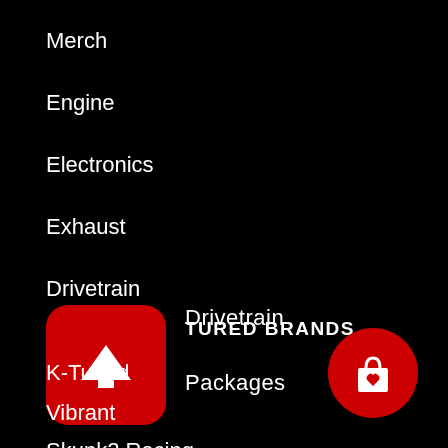Merch
Engine
Electronics
Exhaust
Drivetrain
Packages
TURED BRANDS
K-Tuned
Vibrant
Skunk2 Racing
[Figure (illustration): Red rounded square button with white upward arrow icon]
[Figure (illustration): Red circle button with white shopping bag and heart icon]